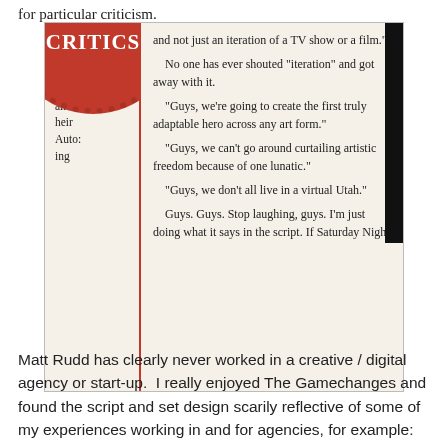for particular criticism.
[Figure (photo): A cropped newspaper/magazine clipping showing two columns of text with a red circle graphic reading 'THE CRITICS'. Left column shows partial words: 't to die', 'Moore', 'till on', 'f the', 'ainst', 'heir', 'Auto:', 'ing'. Right column reads: 'and not just an iteration of a TV show or a film.' No one has ever shouted "iteration" and got away with it. "Guys, we're going to create the first truly adaptable hero across any art form." "Guys, we can't go around curtailing artistic freedom because of one lunatic." "Guys, we don't all live in a virtual Utah." Guys. Guys. Stop laughing, guys. I'm just doing what it says in the script. If Saturday Night]
Matt Rudd has clearly never worked in a creative / digital agency or start-up.  I really enjoyed The Gamechanges and found the script and set design scarily reflective of some of my experiences working in and for agencies, for example: